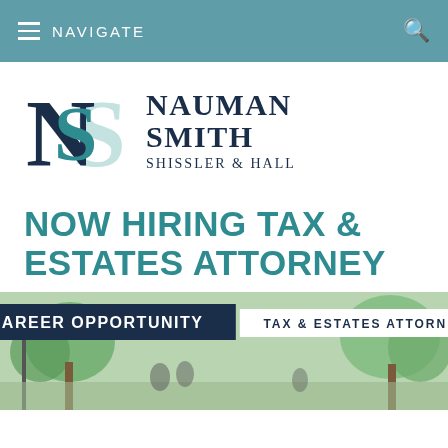NAVIGATE
[Figure (logo): Nauman Smith Shissler & Hall law firm logo with interlocking N and S monogram in dark navy and teal, with firm name text to the right]
NOW HIRING TAX & ESTATES ATTORNEY
[Figure (photo): Career Opportunity banner overlay on outdoor street scene photo with trees. Banner reads CAREER OPPORTUNITY / TAX & ESTATES ATTORNEY]